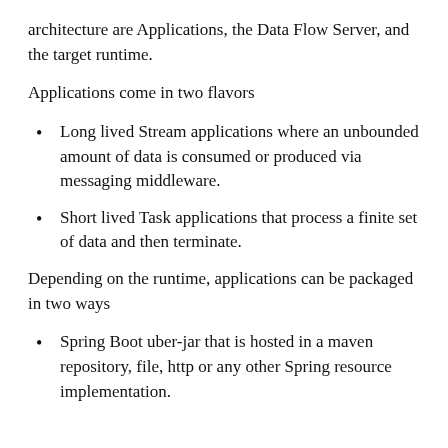architecture are Applications, the Data Flow Server, and the target runtime.
Applications come in two flavors
Long lived Stream applications where an unbounded amount of data is consumed or produced via messaging middleware.
Short lived Task applications that process a finite set of data and then terminate.
Depending on the runtime, applications can be packaged in two ways
Spring Boot uber-jar that is hosted in a maven repository, file, http or any other Spring resource implementation.